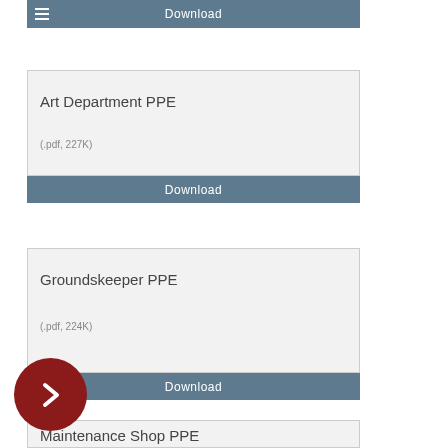Download
Art Department PPE
(.pdf, 227K)
Download
Groundskeeper PPE
(.pdf, 224K)
Download
Maintenance Shop PPE